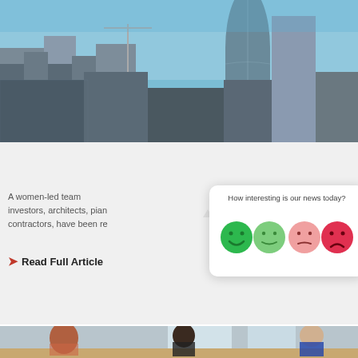[Figure (photo): Aerial/street view of London city skyline showing 22 Bishopsgate, the Gherkin (30 St Mary Axe), and surrounding skyscrapers under a blue sky]
The Women Behind 22 Bishopsgate
A women-led team investors, architects, pian contractors, have been re
Read Full Article
[Figure (infographic): Feedback widget popup asking 'How interesting is our news today?' with four emoji faces: dark green happy, light green neutral, pink neutral-sad, dark pink/red sad]
[Figure (photo): Meeting room scene with people sitting around a conference table, including a woman with red hair on the left, a woman in dark clothing in the center, and a man in a blue shirt on the right]